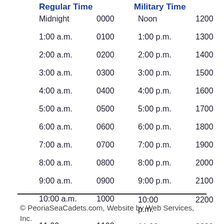| Regular Time | Military Time | Regular Time | Military Time |
| --- | --- | --- | --- |
| Midnight | 0000 | Noon | 1200 |
| 1:00 a.m. | 0100 | 1:00 p.m. | 1300 |
| 2:00 a.m. | 0200 | 2:00 p.m. | 1400 |
| 3:00 a.m. | 0300 | 3:00 p.m. | 1500 |
| 4:00 a.m. | 0400 | 4:00 p.m. | 1600 |
| 5:00 a.m. | 0500 | 5:00 p.m. | 1700 |
| 6:00 a.m. | 0600 | 6:00 p.m. | 1800 |
| 7:00 a.m. | 0700 | 7:00 p.m. | 1900 |
| 8:00 a.m. | 0800 | 8:00 p.m. | 2000 |
| 9:00 a.m. | 0900 | 9:00 p.m. | 2100 |
| 10:00 a.m. | 1000 | 10:00 p.m. | 2200 |
| 11:00 a.m. | 1100 | 11:00 p.m. | 2300 |
© PeoriaSeaCadets.com, Website by Web Services, Inc.